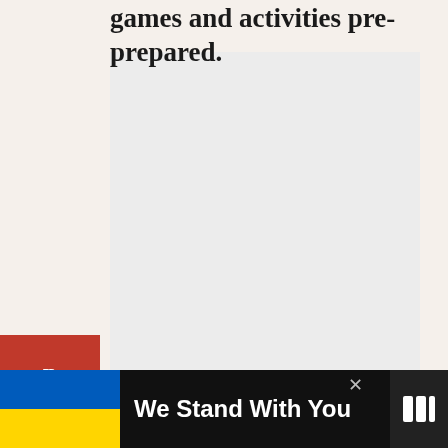games and activities pre-prepared.
[Figure (photo): Large light grey image placeholder area]
[Figure (infographic): Social share sidebar with Pinterest (red), Facebook (dark blue), and Twitter (light blue) buttons]
[Figure (infographic): Right side action buttons: teal heart/like button, count '27', and share button]
27
[Figure (infographic): Bottom ad banner with Ukrainian flag colors (blue and yellow), text 'We Stand With You', close X button, and Mediavine logo]